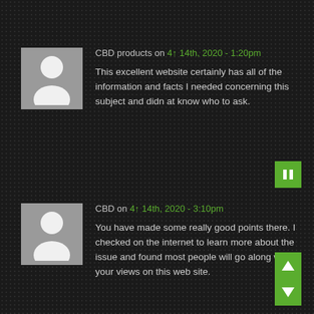CBD products on 4↑ 14th, 2020 - 1:20pm
This excellent website certainly has all of the information and facts I needed concerning this subject and didn at know who to ask.
CBD on 4↑ 14th, 2020 - 3:10pm
You have made some really good points there. I checked on the internet to learn more about the issue and found most people will go along with your views on this web site.